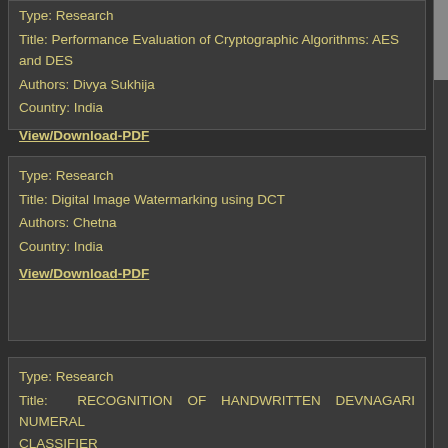Type: Research
Title: Performance Evaluation of Cryptographic Algorithms: AES and DES
Authors: Divya Sukhija
Country: India
View/Download-PDF
Type: Research
Title: Digital Image Watermarking using DCT
Authors: Chetna
Country: India
View/Download-PDF
Type: Research
Title: RECOGNITION OF HANDWRITTEN DEVNAGARI NUMERAL CLASSIFIER
Authors: Shaina Gupta, Daulat Sihag
Country: India
View/Download-PDF